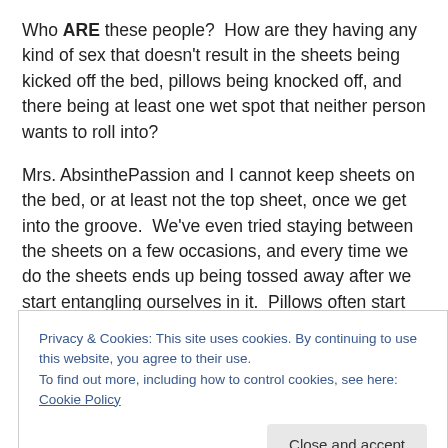Who ARE these people?  How are they having any kind of sex that doesn't result in the sheets being kicked off the bed, pillows being knocked off, and there being at least one wet spot that neither person wants to roll into?
Mrs. AbsinthePassion and I cannot keep sheets on the bed, or at least not the top sheet, once we get into the groove.  We've even tried staying between the sheets on a few occasions, and every time we do the sheets ends up being tossed away after we start entangling ourselves in it.  Pillows often start following suit, as more often than not
Privacy & Cookies: This site uses cookies. By continuing to use this website, you agree to their use. To find out more, including how to control cookies, see here: Cookie Policy
Close and accept
protective pad, because Mrs. AP is a squirter.